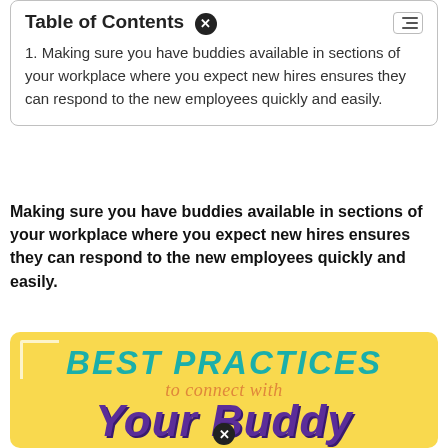Table of Contents
Making sure you have buddies available in sections of your workplace where you expect new hires ensures they can respond to the new employees quickly and easily.
Making sure you have buddies available in sections of your workplace where you expect new hires ensures they can respond to the new employees quickly and easily.
[Figure (infographic): Yellow infographic banner reading 'BEST PRACTICES to connect with Your Buddy -VIRTUALLY-' in teal, orange, purple, and teal text respectively.]